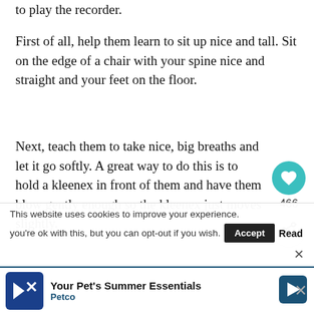to play the recorder.
First of all, help them learn to sit up nice and tall. Sit on the edge of a chair with your spine nice and straight and your feet on the floor.
Next, teach them to take nice, big breaths and let it go softly. A great way to do this is to hold a kleenex in front of them and have them blow gently enough so the kleenex just moves slightly.
After that, it’s time for the “doo” part. When you are
This website uses cookies to improve your experience. you’re ok with this, but you can opt-out if you wish.
[Figure (infographic): Ad banner for Petco: Your Pet’s Summer Essentials]